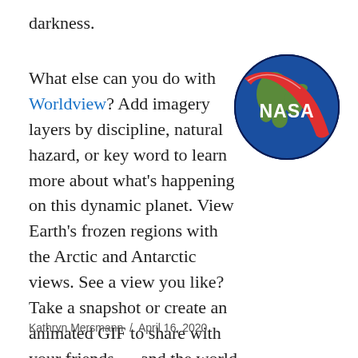darkness.
What else can you do with Worldview? Add imagery layers by discipline, natural hazard, or key word to learn more about what’s happening on this dynamic planet. View Earth’s frozen regions with the Arctic and Antarctic views. See a view you like? Take a snapshot or create an animated GIF to share with your friends — and the world with #EarthDayAtHome!
[Figure (logo): NASA meatball logo: blue circle with white NASA text, red swoosh, and Earth globe in green and blue]
Kathryn Mersmann / April 16, 2020